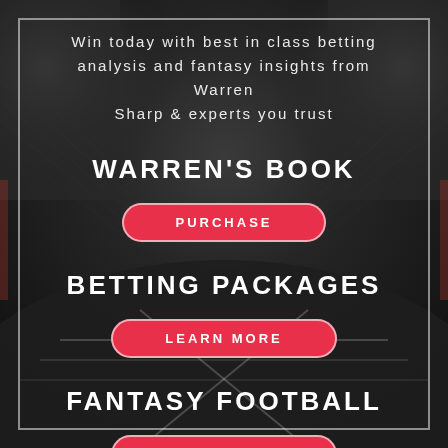[Figure (photo): Dark grayscale image of a football stadium with field markings and crowd in the stands, used as background]
Win today with best in class betting analysis and fantasy insights from Warren Sharp & experts you trust
WARREN'S BOOK
PURCHASE
BETTING PACKAGES
LEARN MORE
FANTASY FOOTBALL
LEARN MORE